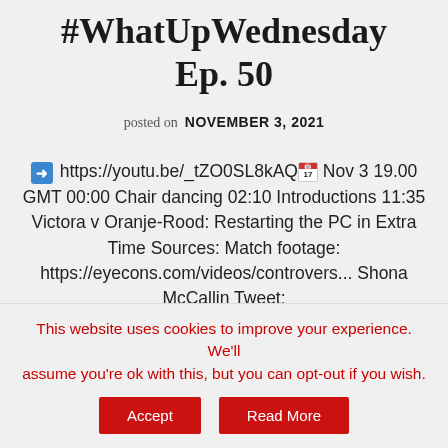#WhatUpWednesday Ep. 50
posted on NOVEMBER 3, 2021
➡ https://youtu.be/_tZO0SL8kAQ 📅 Nov 3 19.00 GMT 00:00 Chair dancing 02:10 Introductions 11:35 Victora v Oranje-Rood: Restarting the PC in Extra Time Sources: Match footage: https://eyecons.com/videos/controvers... Shona McCallin Tweet:
This website uses cookies to improve your experience. We'll assume you're ok with this, but you can opt-out if you wish.